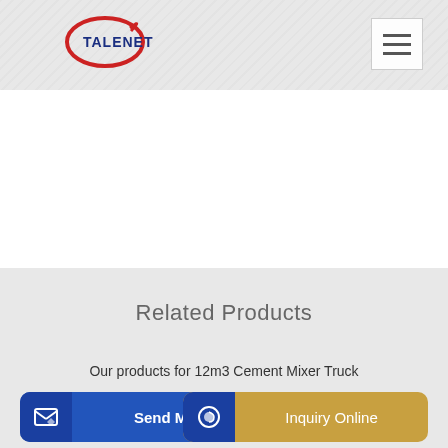[Figure (logo): Talenet company logo with red circular arrow and blue text]
Related Products
Our products for 12m3 Cement Mixer Truck
sip 220w compcement mixer 230v small concrete mortar
or con
Send Message
Inquiry Online